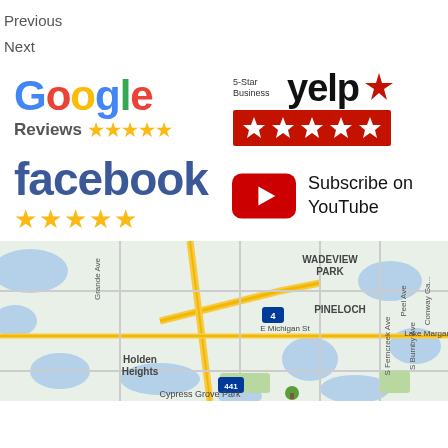Previous
Next
[Figure (logo): Google Reviews logo with 5 gold stars]
[Figure (logo): Yelp 5-Star Business logo with red star bar]
[Figure (logo): Facebook logo with 5 gold stars]
[Figure (logo): Subscribe on YouTube button with red play icon]
[Figure (map): Google Maps showing Orlando FL area including Wadeview Park, Pineloch, Holden Heights, Cypress Grove Park]